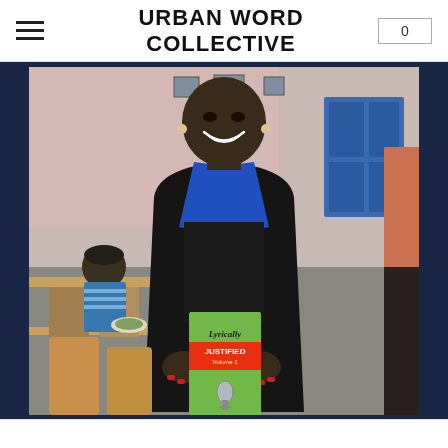URBAN WORD COLLECTIVE  0
[Figure (photo): A smiling woman wearing a black coat with blue lining, standing in what appears to be a community center or cafeteria, holding a green book titled 'Lyrically Justified Volume 1' with a microphone image on the cover. In the background, another person is seated at a table eating.]